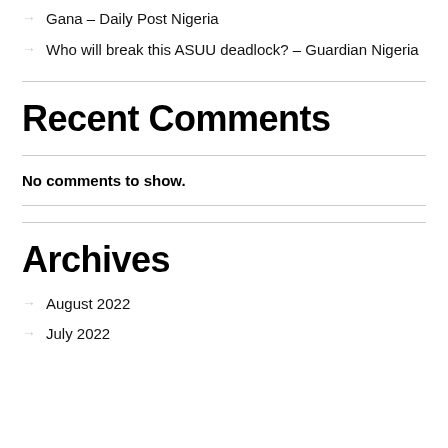Gana – Daily Post Nigeria
Who will break this ASUU deadlock? – Guardian Nigeria
Recent Comments
No comments to show.
Archives
August 2022
July 2022